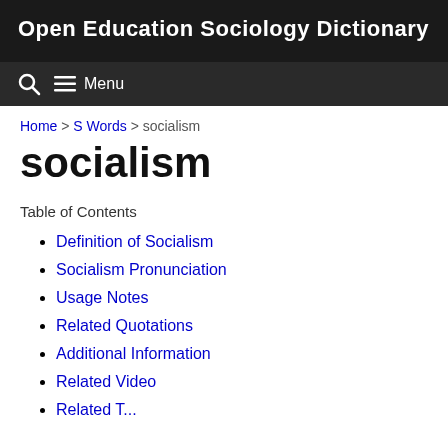Open Education Sociology Dictionary
≡ Menu
Home > S Words > socialism
socialism
Table of Contents
Definition of Socialism
Socialism Pronunciation
Usage Notes
Related Quotations
Additional Information
Related Video
Related T...